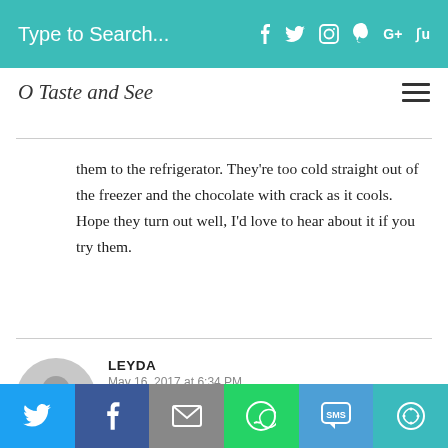Type to Search... f t IG P G+ Su
O Taste and See
them to the refrigerator. They're too cold straight out of the freezer and the chocolate with crack as it cools. Hope they turn out well, I'd love to hear about it if you try them.
LEYDA
May 16, 2017 at 6:34 PM
Can I make the cake balls one day and the next day put the sticks on
Twitter | Facebook | Email | WhatsApp | SMS | More